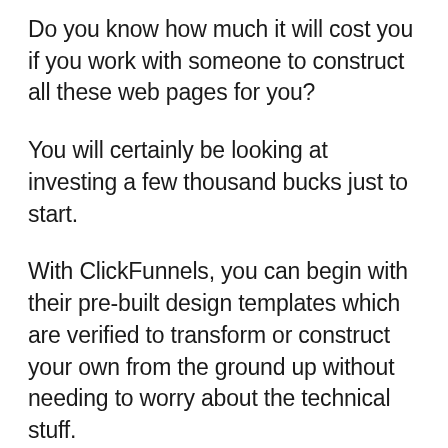Do you know how much it will cost you if you work with someone to construct all these web pages for you?
You will certainly be looking at investing a few thousand bucks just to start.
With ClickFunnels, you can begin with their pre-built design templates which are verified to transform or construct your own from the ground up without needing to worry about the technical stuff.
ClickFunnels really assist us as online entrepreneur conserve cash and also time in